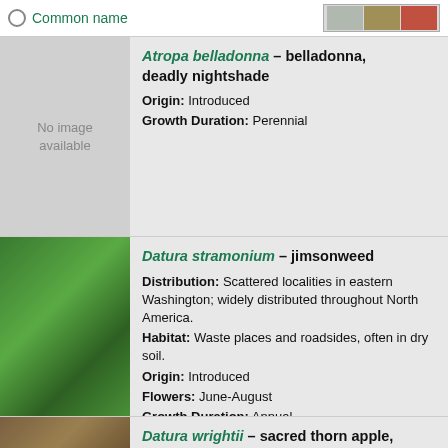Common name
Atropa belladonna – belladonna, deadly nightshade
Origin: Introduced
Growth Duration: Perennial
[Figure (photo): No image available placeholder for Atropa belladonna]
Datura stramonium – jimsonweed
Distribution: Scattered localities in eastern Washington; widely distributed throughout North America.
Habitat: Waste places and roadsides, often in dry soil.
Origin: Introduced
Flowers: June-August
Growth Duration: Annual
[Figure (photo): Photo of Datura stramonium (jimsonweed) plant with lobed green leaves]
Datura wrightii – sacred thorn apple,